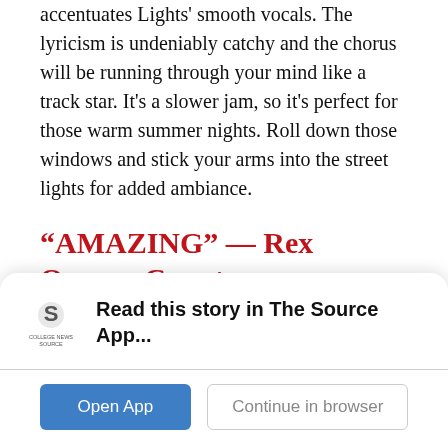accentuates Lights' smooth vocals. The lyricism is undeniably catchy and the chorus will be running through your mind like a track star. It's a slower jam, so it's perfect for those warm summer nights. Roll down those windows and stick your arms into the street lights for added ambiance.
“AMAZING” — Rex Orange County
Our good pal Rex has proven himself a master of making excellent music. His latest album “WHO
[Figure (logo): College News Source logo - stylized S icon with text COLLEGE NEWS SOURCE below]
Read this story in The Source App...
Open App
Continue in browser